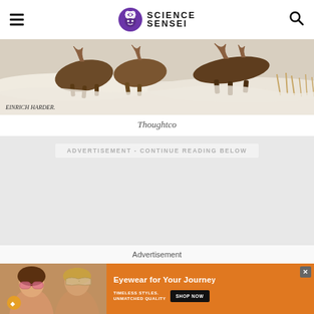Science Sensei
[Figure (illustration): Painting of woolly mammoths or large prehistoric animals running through snow, signed 'Heinrich Harder' in bottom left corner.]
Thoughtco
ADVERTISEMENT - CONTINUE READING BELOW
Advertisement
[Figure (photo): Advertisement banner showing two women wearing sunglasses with text 'Eyewear for Your Journey' and 'TIMELESS STYLES. UNMATCHED QUALITY' with a 'SHOP NOW' button.]